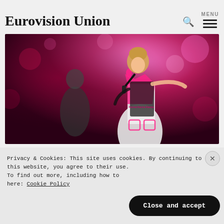Eurovision Union
[Figure (photo): A female performer on stage singing into a microphone, wearing a white pinstripe outfit with pink accents and graffiti-style text, with a male dancer behind her, against a pink/magenta bokeh stage background.]
Privacy & Cookies: This site uses cookies. By continuing to use this website, you agree to their use. To find out more, including how to control cookies, see here: Cookie Policy
Close and accept